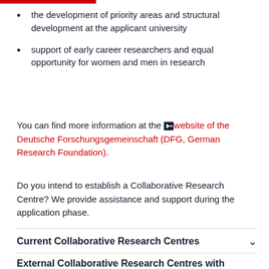the development of priority areas and structural development at the applicant university
support of early career researchers and equal opportunity for women and men in research
You can find more information at the ➔ website of the Deutsche Forschungsgemeinschaft (DFG, German Research Foundation).
Do you intend to establish a Collaborative Research Centre? We provide assistance and support during the application phase.
Current Collaborative Research Centres
External Collaborative Research Centres with